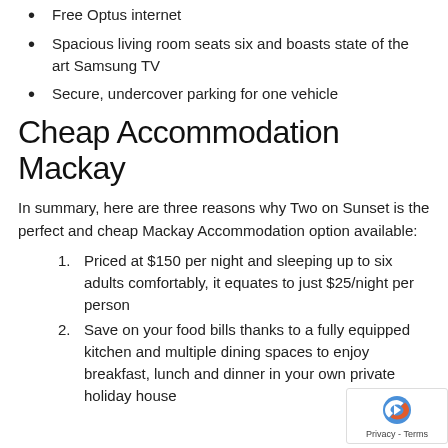Free Optus internet
Spacious living room seats six and boasts state of the art Samsung TV
Secure, undercover parking for one vehicle
Cheap Accommodation Mackay
In summary, here are three reasons why Two on Sunset is the perfect and cheap Mackay Accommodation option available:
Priced at $150 per night and sleeping up to six adults comfortably, it equates to just $25/night per person
Save on your food bills thanks to a fully equipped kitchen and multiple dining spaces to enjoy breakfast, lunch and dinner in your own private holiday house